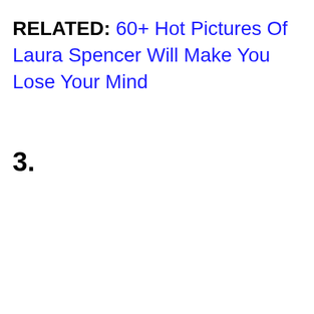RELATED: 60+ Hot Pictures Of Laura Spencer Will Make You Lose Your Mind
3.